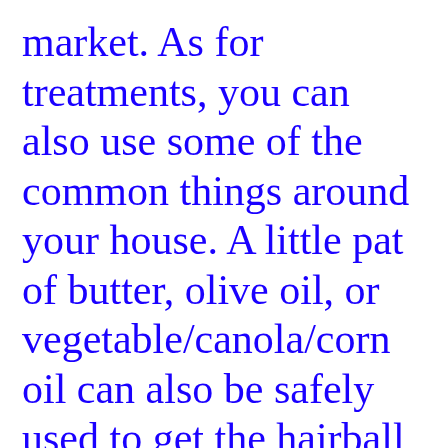market. As for treatments, you can also use some of the common things around your house. A little pat of butter, olive oil, or vegetable/canola/corn oil can also be safely used to get the hairball moving in the right direction, and